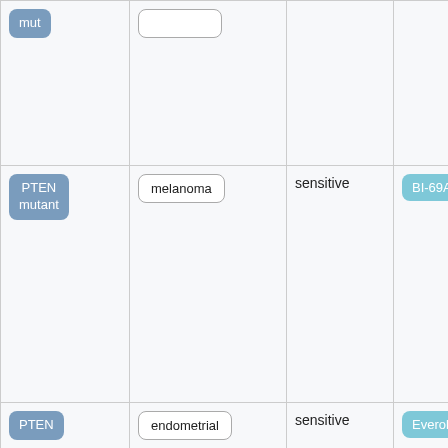| Biomarker | Cancer Type | Sensitivity | Drug |
| --- | --- | --- | --- |
| mut |  |  |  |
| PTEN mutant | melanoma | sensitive | BI-69A11 |
| PTEN | endometrial | sensitive | Everolimus |